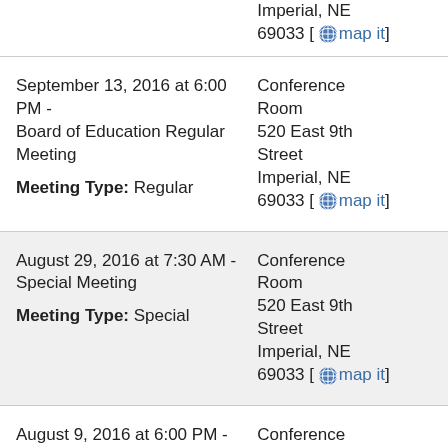Imperial, NE 69033 [map it]
September 13, 2016 at 6:00 PM - Board of Education Regular Meeting
Meeting Type: Regular
Conference Room 520 East 9th Street Imperial, NE 69033 [map it]
August 29, 2016 at 7:30 AM - Special Meeting
Meeting Type: Special
Conference Room 520 East 9th Street Imperial, NE 69033 [map it]
August 9, 2016 at 6:00 PM - Board of Education Regular Meeting
Conference Room